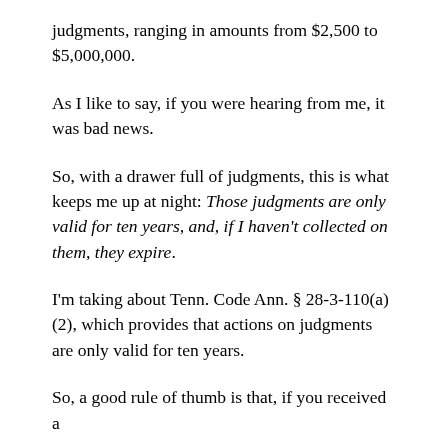judgments, ranging in amounts from $2,500 to $5,000,000.
As I like to say, if you were hearing from me, it was bad news.
So, with a drawer full of judgments, this is what keeps me up at night: Those judgments are only valid for ten years, and, if I haven't collected on them, they expire.
I'm taking about Tenn. Code Ann. § 28-3-110(a)(2), which provides that actions on judgments are only valid for ten years.
So, a good rule of thumb is that, if you received a